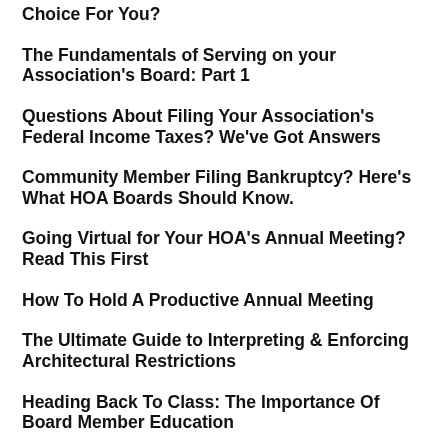Choice For You?
The Fundamentals of Serving on your Association's Board: Part 1
Questions About Filing Your Association's Federal Income Taxes? We've Got Answers
Community Member Filing Bankruptcy? Here's What HOA Boards Should Know.
Going Virtual for Your HOA's Annual Meeting? Read This First
How To Hold A Productive Annual Meeting
The Ultimate Guide to Interpreting & Enforcing Architectural Restrictions
Heading Back To Class: The Importance Of Board Member Education